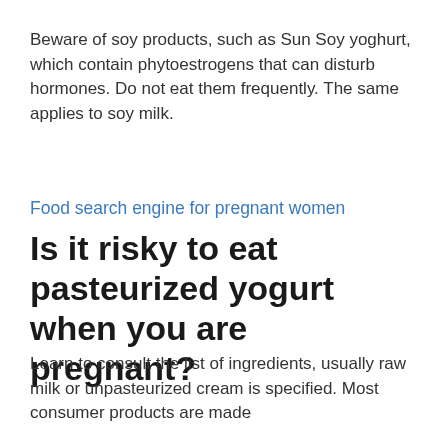Beware of soy products, such as Sun Soy yoghurt, which contain phytoestrogens that can disturb hormones. Do not eat them frequently. The same applies to soy milk.
Food search engine for pregnant women
Is it risky to eat pasteurized yogurt when you are pregnant?
Learn to consult the list of ingredients, usually raw milk or unpasteurized cream is specified. Most consumer products are made